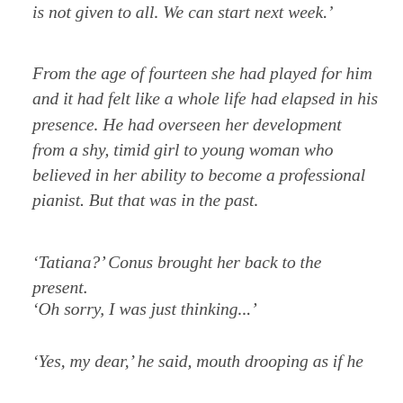is not given to all. We can start next week.’
From the age of fourteen she had played for him and it had felt like a whole life had elapsed in his presence. He had overseen her development from a shy, timid girl to young woman who believed in her ability to become a professional pianist. But that was in the past.
‘Tatiana?’ Conus brought her back to the present.
‘Oh sorry, I was just thinking...’
‘Yes, my dear,’ he said, mouth drooping as if he